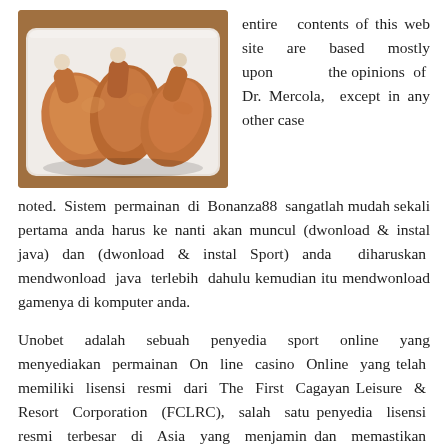[Figure (photo): Raw chicken legs/drumsticks in a white styrofoam tray, photographed from above on a wooden surface.]
entire contents of this web site are based mostly upon the opinions of Dr. Mercola, except in any other case noted. Sistem permainan di Bonanza88 sangatlah mudah sekali pertama anda harus ke nanti akan muncul (dwonload & instal java) dan (dwonload & instal Sport) anda diharuskan mendwonload java terlebih dahulu kemudian itu mendwonload gamenya di komputer anda.
Unobet adalah sebuah penyedia sport online yang menyediakan permainan On line casino Online yang telah memiliki lisensi resmi dari The First Cagayan Leisure & Resort Corporation (FCLRC), salah satu penyedia lisensi resmi terbesar di Asia yang menjamin dan memastikan semua permainan di Unobet adalah